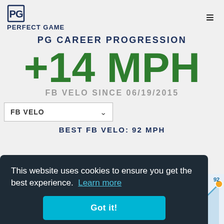PERFECT GAME
PG CAREER PROGRESSION
+14 MPH
FB VELO SINCE 06/19/2015
FB VELO
BEST FB VELO: 92 MPH
This website uses cookies to ensure you get the best experience.  Learn more
Got it!
[Figure (line-chart): Partial line chart showing FB velocity progression with data points at 87, 87, 89, 92]